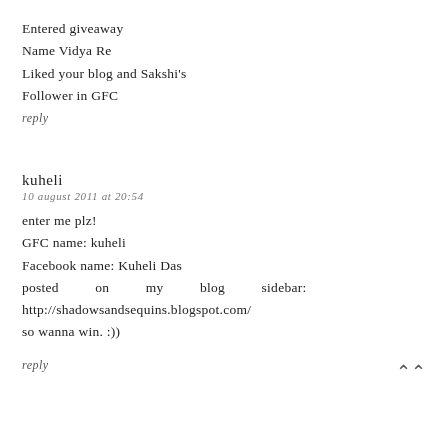Entered giveaway
Name Vidya Re
Liked your blog and Sakshi's
Follower in GFC
reply
kuheli
10 august 2011 at 20:54
enter me plz!
GFC name: kuheli
Facebook name: Kuheli Das
posted on my blog sidebar: http://shadowsandsequins.blogspot.com/
so wanna win. :))
reply